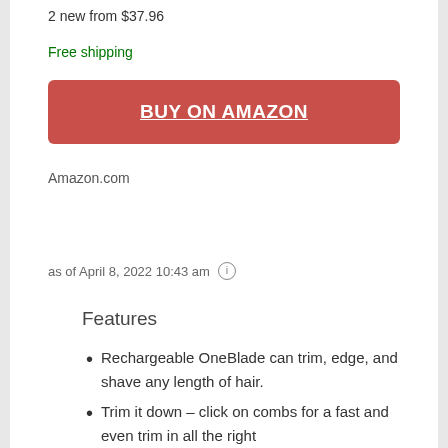2 new from $37.96
Free shipping
BUY ON AMAZON
Amazon.com
as of April 8, 2022 10:43 am ⓘ
Features
Rechargeable OneBlade can trim, edge, and shave any length of hair.
Trim it down – click on combs for a fast and even trim in all the right